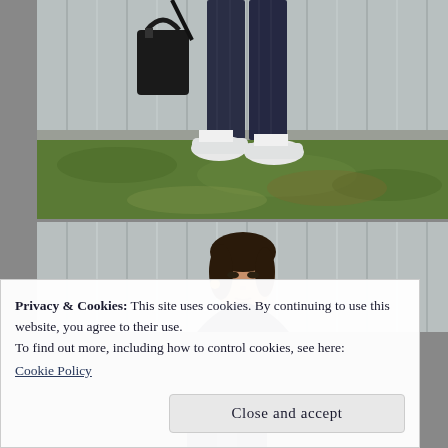[Figure (photo): Top photo: Lower half of a person wearing a dark navy pinstripe suit and white sneakers, carrying a black handbag, walking on grass in front of a corrugated metal wall.]
[Figure (photo): Middle photo: Upper portion of a young woman with dark hair facing camera, wearing a dark top, standing in front of a corrugated metal wall.]
[Figure (photo): Bottom photo (partially visible): Dark clothing visible at very bottom of page.]
Privacy & Cookies: This site uses cookies. By continuing to use this website, you agree to their use.
To find out more, including how to control cookies, see here:
Cookie Policy
Close and accept